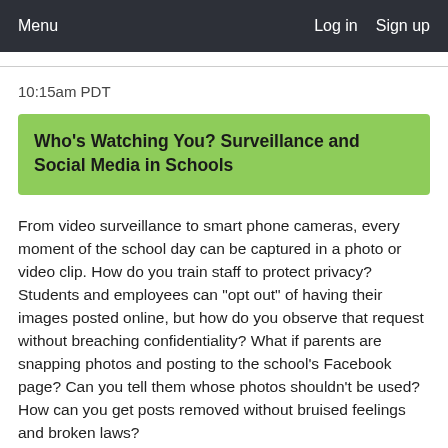Menu    Log in   Sign up
10:15am PDT
Who's Watching You? Surveillance and Social Media in Schools
From video surveillance to smart phone cameras, every moment of the school day can be captured in a photo or video clip. How do you train staff to protect privacy? Students and employees can "opt out" of having their images posted online, but how do you observe that request without breaching confidentiality? What if parents are snapping photos and posting to the school's Facebook page? Can you tell them whose photos shouldn't be used? How can you get posts removed without bruised feelings and broken laws?